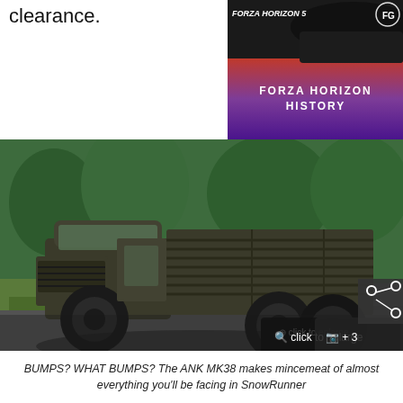clearance.
[Figure (screenshot): Forza Horizon History advertisement banner with purple/red gradient background and a car partially visible]
[Figure (screenshot): ANK MK38 military truck in SnowRunner video game, green army-style 6-wheel cargo truck on a dirt/grass terrain. Overlay buttons: 'click to enlarge' with magnify icon, camera icon with '+3', and share icon.]
BUMPS? WHAT BUMPS? The ANK MK38 makes mincemeat of almost everything you'll be facing in SnowRunner